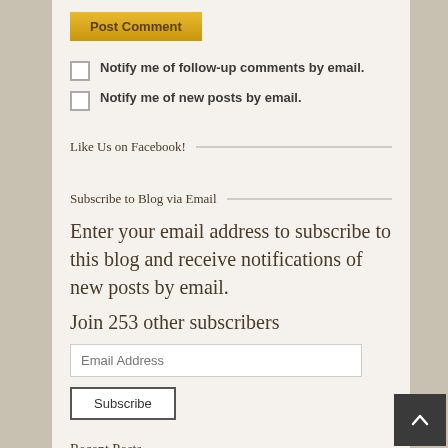[Figure (other): Post Comment button - golden/yellow colored button]
Notify me of follow-up comments by email.
Notify me of new posts by email.
Like Us on Facebook!
Subscribe to Blog via Email
Enter your email address to subscribe to this blog and receive notifications of new posts by email.
Join 253 other subscribers
[Figure (other): Email Address input field]
[Figure (other): Subscribe button]
Recent Posts
[Figure (other): Back to top dark button with upward arrow]